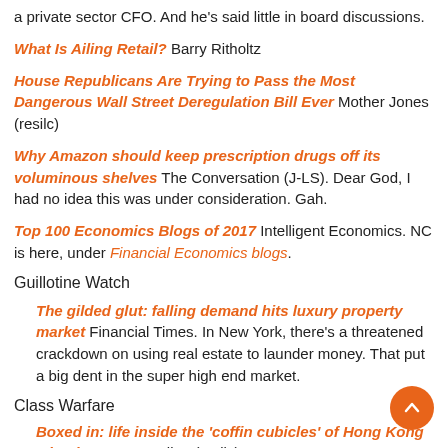a private sector CFO. And he's said little in board discussions.
What Is Ailing Retail? Barry Ritholtz
House Republicans Are Trying to Pass the Most Dangerous Wall Street Deregulation Bill Ever Mother Jones (resilc)
Why Amazon should keep prescription drugs off its voluminous shelves The Conversation (J-LS). Dear God, I had no idea this was under consideration. Gah.
Top 100 Economics Blogs of 2017 Intelligent Economics. NC is here, under Financial Economics blogs.
Guillotine Watch
The gilded glut: falling demand hits luxury property market Financial Times. In New York, there's a threatened crackdown on using real estate to launder money. That put a big dent in the super high end market.
Class Warfare
Boxed in: life inside the 'coffin cubicles' of Hong Kong – in pictures Guardian (resilc). A must see.